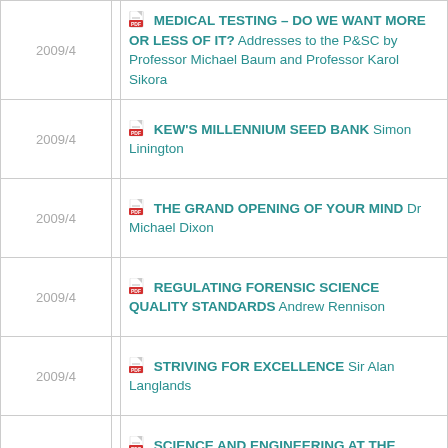| Date |  | Title |
| --- | --- | --- |
| 2009/4 |  | MEDICAL TESTING – DO WE WANT MORE OR LESS OF IT? Addresses to the P&SC by Professor Michael Baum and Professor Karol Sikora |
| 2009/4 |  | KEW'S MILLENNIUM SEED BANK Simon Linington |
| 2009/4 |  | THE GRAND OPENING OF YOUR MIND Dr Michael Dixon |
| 2009/4 |  | REGULATING FORENSIC SCIENCE QUALITY STANDARDS Andrew Rennison |
| 2009/4 |  | STRIVING FOR EXCELLENCE Sir Alan Langlands |
| 2009/4 |  | SCIENCE AND ENGINEERING AT THE HEART OF A FUTURE CONSERVATIVE... |